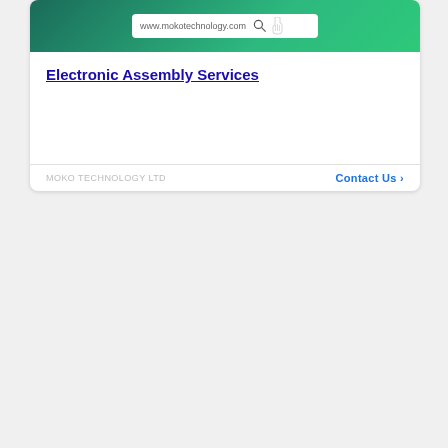[Figure (screenshot): Top advertisement card for MOKO TECHNOLOGY LTD showing a teal/green gradient header with a search bar displaying 'www.mokotechnology.com', the title 'Electronic Assembly Services' as a blue underlined link, and a footer with 'MOKO TECHNOLOGY LTD' and a 'Contact Us >' link in blue.]
CATEGORIES
101-Announcements (29)
[Figure (screenshot): Bottom advertisement for MOKO TECHNOLOGY LTD with title 'Your Trust PCBA OEM Partner' highlighted in blue, description 'Extensive Assembly Experience in Industrial Medical, IoT, Telecom, Automotive Electronics', brand name 'MOKO TECHNOLOGY LTD', and a blue 'Contact Us' button. Ad controls (play and close buttons) visible in top right.]